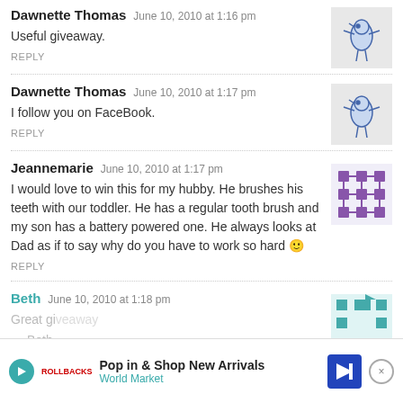Dawnette Thomas — June 10, 2010 at 1:16 pm — Useful giveaway. — REPLY
Dawnette Thomas — June 10, 2010 at 1:17 pm — I follow you on FaceBook. — REPLY
Jeannemarie — June 10, 2010 at 1:17 pm — I would love to win this for my hubby. He brushes his teeth with our toddler. He has a regular tooth brush and my son has a battery powered one. He always looks at Dad as if to say why do you have to work so hard 🙂 — REPLY
Beth — June 10, 2010 at 1:18 pm — Great gi... — Beth...
[Figure (screenshot): Advertisement banner: Pop in & Shop New Arrivals World Market]